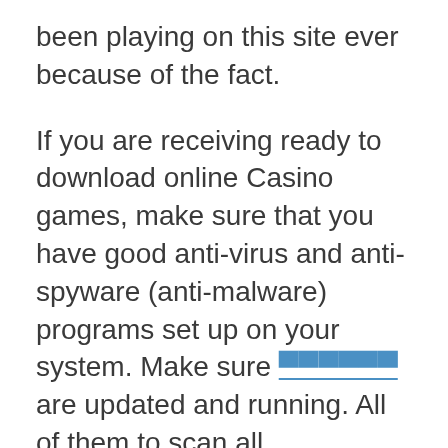been playing on this site ever because of the fact.
If you are receiving ready to download online Casino games, make sure that you have good anti-virus and anti-spyware (anti-malware) programs set up on your system. Make sure [link] are updated and running. All of them to scan all downloaded files, since this will allow you to filter out anything that’s tainted having a virus, trojan, or adware. It’s better to delete a downloaded file before ever running it, whether it contains a payload which slow personal computer or make it crash!
You the surprised by what casino overnight tours actually cost your entire family. Based